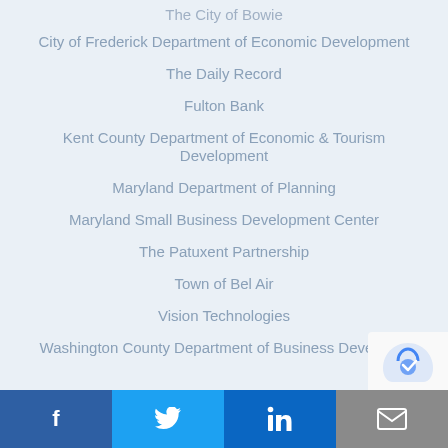The City of Bowie
City of Frederick Department of Economic Development
The Daily Record
Fulton Bank
Kent County Department of Economic & Tourism Development
Maryland Department of Planning
Maryland Small Business Development Center
The Patuxent Partnership
Town of Bel Air
Vision Technologies
Washington County Department of Business Develop…
f  Twitter  in  Email